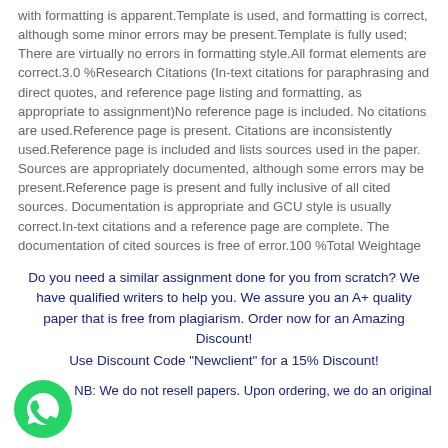with formatting is apparent.Template is used, and formatting is correct, although some minor errors may be present.Template is fully used; There are virtually no errors in formatting style.All format elements are correct.3.0 %Research Citations (In-text citations for paraphrasing and direct quotes, and reference page listing and formatting, as appropriate to assignment)No reference page is included. No citations are used.Reference page is present. Citations are inconsistently used.Reference page is included and lists sources used in the paper. Sources are appropriately documented, although some errors may be present.Reference page is present and fully inclusive of all cited sources. Documentation is appropriate and GCU style is usually correct.In-text citations and a reference page are complete. The documentation of cited sources is free of error.100 %Total Weightage
Do you need a similar assignment done for you from scratch? We have qualified writers to help you. We assure you an A+ quality paper that is free from plagiarism. Order now for an Amazing Discount!
Use Discount Code "Newclient" for a 15% Discount!
[Figure (logo): WhatsApp green circular icon with phone handset symbol in white]
NB: We do not resell papers. Upon ordering, we do an original